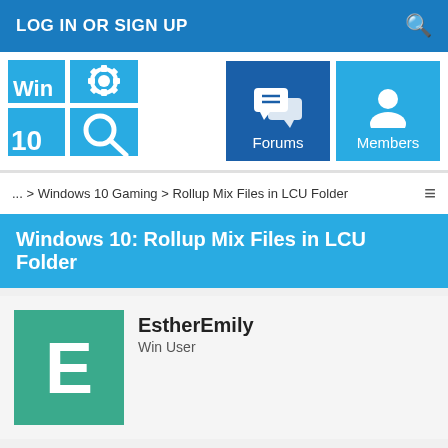LOG IN OR SIGN UP
[Figure (logo): Windows 10 logo with gear and search icons in blue tiles grid]
[Figure (infographic): Forums button with chat bubble icon, dark blue background]
[Figure (infographic): Members button with person icon, light blue background]
... > Windows 10 Gaming > Rollup Mix Files in LCU Folder
Windows 10: Rollup Mix Files in LCU Folder
EstherEmily
Win User